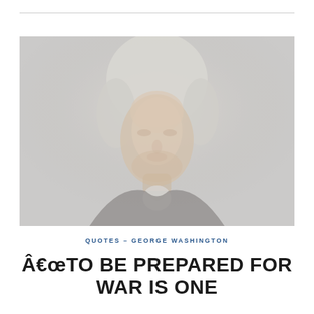[Figure (photo): Faded/washed-out portrait painting of George Washington, showing his face and upper torso in three-quarter view, with white powdered wig, against a gray background.]
QUOTES – GEORGE WASHINGTON
â€œTO BE PREPARED FOR WAR IS ONE